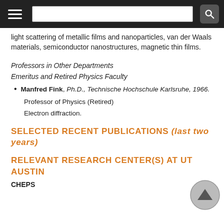[Navigation bar with hamburger menu and search]
light scattering of metallic films and nanoparticles, van der Waals materials, semiconductor nanostructures, magnetic thin films.
Professors in Other Departments
Emeritus and Retired Physics Faculty
Manfred Fink, Ph.D., Technische Hochschule Karlsruhe, 1966.
Professor of Physics (Retired)
Electron diffraction.
SELECTED RECENT PUBLICATIONS (last two years)
RELEVANT RESEARCH CENTER(S) AT UT AUSTIN
CHEPS